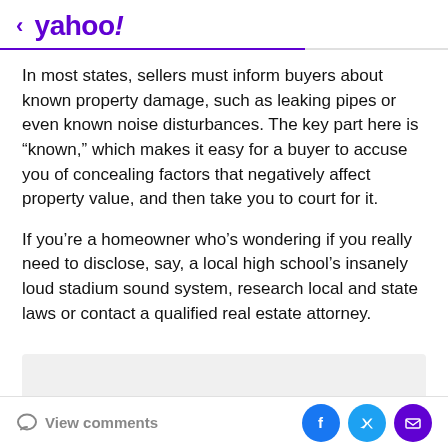< yahoo!
In most states, sellers must inform buyers about known property damage, such as leaking pipes or even known noise disturbances. The key part here is “known,” which makes it easy for a buyer to accuse you of concealing factors that negatively affect property value, and then take you to court for it.
If you’re a homeowner who’s wondering if you really need to disclose, say, a local high school’s insanely loud stadium sound system, research local and state laws or contact a qualified real estate attorney.
View comments